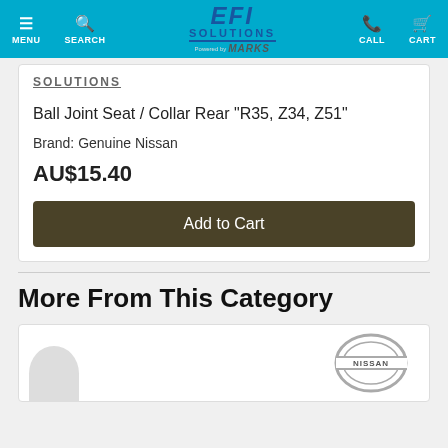MENU | SEARCH | EFI SOLUTIONS (Powered by MARKS) | CALL | CART
SOLUTIONS
Ball Joint Seat / Collar Rear "R35, Z34, Z51"
Brand: Genuine Nissan
AU$15.40
Add to Cart
More From This Category
[Figure (logo): Nissan logo on white product card background]